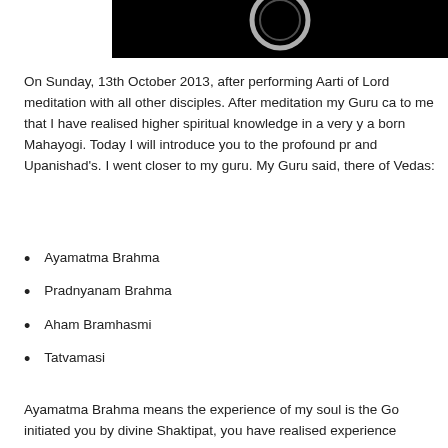[Figure (photo): Dark image with circular/ring shape on black background, partially visible at top of page]
On Sunday, 13th October 2013, after performing Aarti of Lord meditation with all other disciples. After meditation my Guru ca to me that I have realised higher spiritual knowledge in a very y a born Mahayogi. Today I will introduce you to the profound pr and Upanishad's. I went closer to my guru. My Guru said, there of Vedas:
Ayamatma Brahma
Pradnyanam Brahma
Aham Bramhasmi
Tatvamasi
Ayamatma Brahma means the experience of my soul is the Go initiated you by divine Shaktipat, you have realised experience